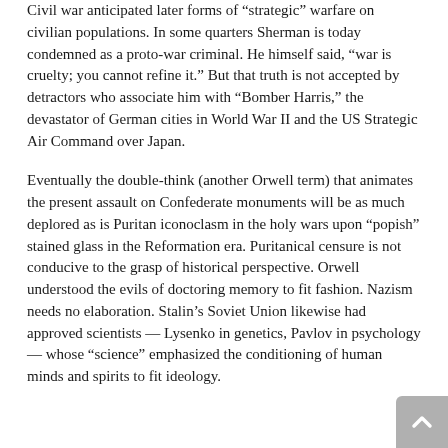Civil war anticipated later forms of 'strategic' warfare on civilian populations. In some quarters Sherman is today condemned as a proto-war criminal. He himself said, "war is cruelty; you cannot refine it." But that truth is not accepted by detractors who associate him with "Bomber Harris," the devastator of German cities in World War II and the US Strategic Air Command over Japan.
Eventually the double-think (another Orwell term) that animates the present assault on Confederate monuments will be as much deplored as is Puritan iconoclasm in the holy wars upon “popish” stained glass in the Reformation era. Puritanical censure is not conducive to the grasp of historical perspective. Orwell understood the evils of doctoring memory to fit fashion. Nazism needs no elaboration. Stalin’s Soviet Union likewise had approved scientists — Lysenko in genetics, Pavlov in psychology — whose “science” emphasized the conditioning of human minds and spirits to fit ideology.